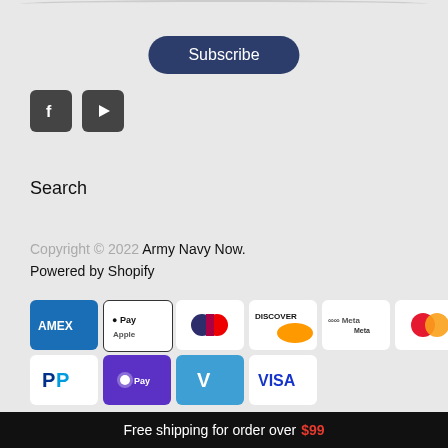[Figure (other): Subscribe button with dark navy rounded rectangle pill shape, white text]
[Figure (other): Social media icons: Facebook (f) and YouTube (play button) in dark grey rounded square icons]
Search
Copyright © 2022 Army Navy Now.
Powered by Shopify
[Figure (other): Payment method icons: AMEX, Apple Pay, Diners Club, Discover, Meta Pay, Mastercard, PayPal, Shop Pay, Venmo, Visa]
Free shipping for order over $99